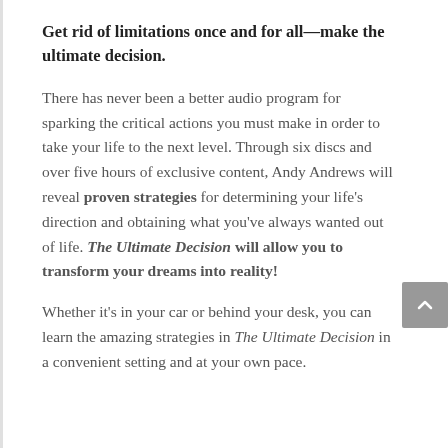Get rid of limitations once and for all—make the ultimate decision.
There has never been a better audio program for sparking the critical actions you must make in order to take your life to the next level. Through six discs and over five hours of exclusive content, Andy Andrews will reveal proven strategies for determining your life's direction and obtaining what you've always wanted out of life. The Ultimate Decision will allow you to transform your dreams into reality!
Whether it's in your car or behind your desk, you can learn the amazing strategies in The Ultimate Decision in a convenient setting and at your own pace.